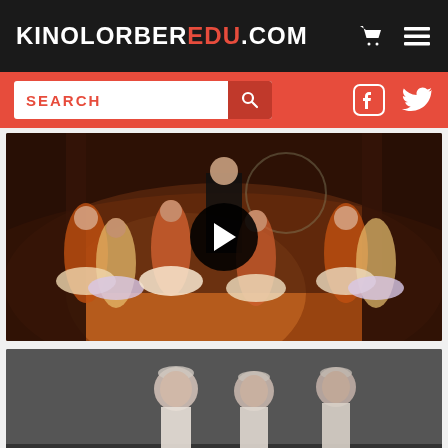KINOLORBEREDU.COM
[Figure (screenshot): Search bar with red background, text input field labeled SEARCH, search button, and social media icons (Facebook, Twitter)]
[Figure (photo): Color video thumbnail showing ballet dancers in colorful tutus on stage with warm orange/amber lighting, featuring a play button overlay in the center]
[Figure (photo): Black and white photograph showing ballet dancers, appears to be two or three performers in white costumes with floral headpieces]